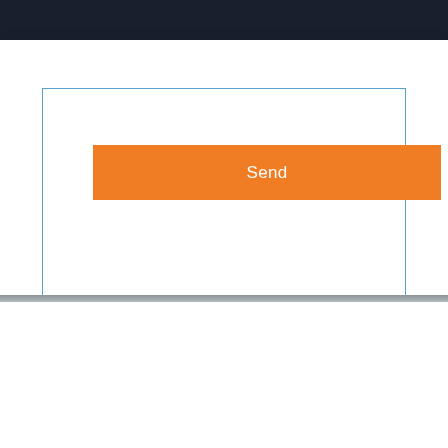Navigation bar with menu, book/document, and search icons
[Figure (screenshot): A blue-bordered input/form box with an orange Send button inside a white card]
Send
WELCOME TO CONSULT
[Figure (infographic): Orange rounded button with people/group icon and text PARTNERSHIP]